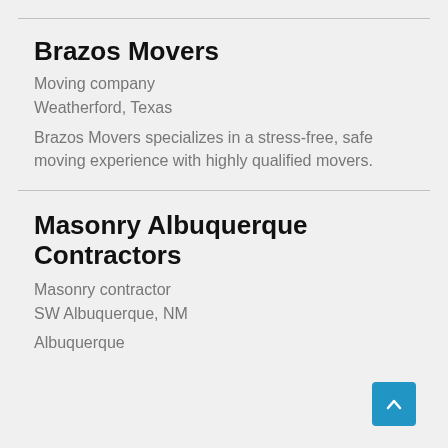Brazos Movers
Moving company
Weatherford, Texas
Brazos Movers specializes in a stress-free, safe moving experience with highly qualified movers.
Masonry Albuquerque Contractors
Masonry contractor
SW Albuquerque, NM
Albuquerque